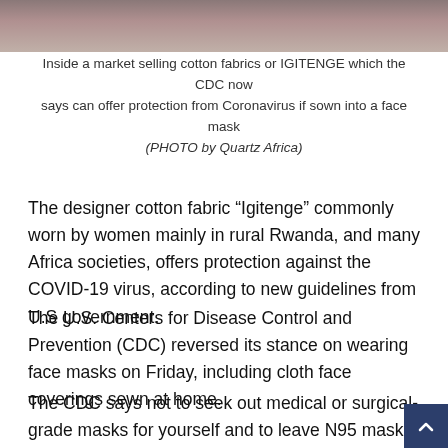[Figure (photo): Top portion of a photo showing people inside a market selling cotton fabrics]
Inside a market selling cotton fabrics or IGITENGE which the CDC now says can offer protection from Coronavirus if sown into a face mask (PHOTO by Quartz Africa)
The designer cotton fabric “Igitenge” commonly worn by women mainly in rural Rwanda, and many Africa societies, offers protection against the COVID-19 virus, according to new guidelines from U.S government.
The U.S. Centers for Disease Control and Prevention (CDC) reversed its stance on wearing face masks on Friday, including cloth face coverings sewn at home.
The CDC says not to seek out medical or surgical-grade masks for yourself and to leave N95 masks to health care workers, opting instead for basic cloth or fabric covering